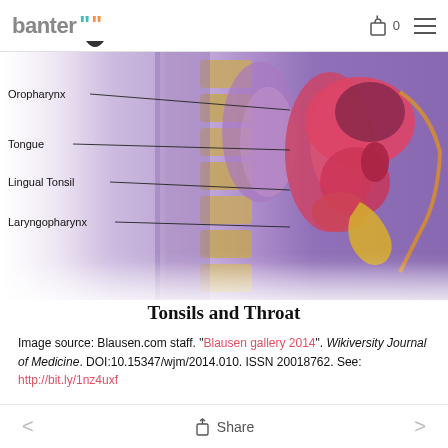banter [logo] — cart 0 — menu
[Figure (illustration): Cross-sectional anatomical illustration of the throat and tonsils showing labeled structures: Oropharynx, Tongue, Lingual Tonsil, Laryngopharynx. Labels point with lines to the respective anatomical regions in a sagittal view of the head and neck.]
Tonsils and Throat
Image source: Blausen.com staff. "Blausen gallery 2014". Wikiversity Journal of Medicine. DOI:10.15347/wjm/2014.010. ISSN 20018762. See: http://bit.ly/1nz4uxf
< Share >